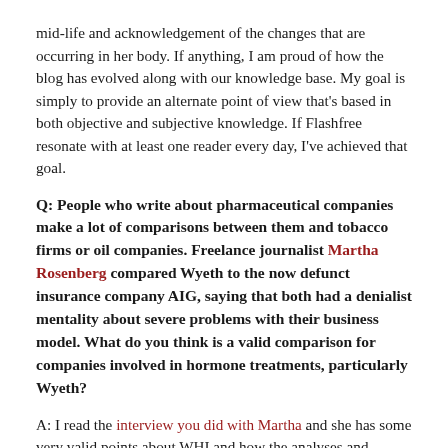mid-life and acknowledgement of the changes that are occurring in her body. If anything, I am proud of how the blog has evolved along with our knowledge base. My goal is simply to provide an alternate point of view that's based in both objective and subjective knowledge. If Flashfree resonate with at least one reader every day, I've achieved that goal.
Q: People who write about pharmaceutical companies make a lot of comparisons between them and tobacco firms or oil companies. Freelance journalist Martha Rosenberg compared Wyeth to the now defunct insurance company AIG, saying that both had a denialist mentality about severe problems with their business model. What do you think is a valid comparison for companies involved in hormone treatments, particularly Wyeth?
A: I read the interview you did with Martha and she has some very valid points about WHI and how the analyses and published papers have (and continue to be) played out. However, she paints a very black and white picture of industry that I don't necessarily agree with. She, like many, fails to